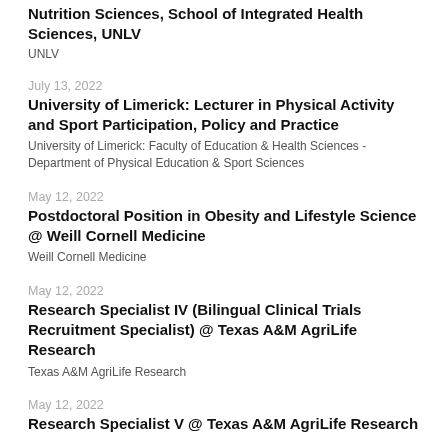Nutrition Sciences, School of Integrated Health Sciences, UNLV
UNLV
July 13, 2022
University of Limerick: Lecturer in Physical Activity and Sport Participation, Policy and Practice
University of Limerick: Faculty of Education & Health Sciences - Department of Physical Education & Sport Sciences
May 12, 2022
Postdoctoral Position in Obesity and Lifestyle Science @ Weill Cornell Medicine
Weill Cornell Medicine
May 12, 2022
Research Specialist IV (Bilingual Clinical Trials Recruitment Specialist) @ Texas A&M AgriLife Research
Texas A&M AgriLife Research
May 12, 2022
Research Specialist V @ Texas A&M AgriLife Research